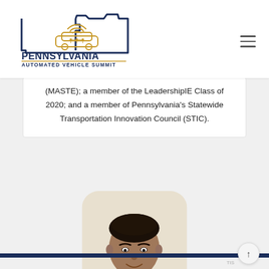[Figure (logo): Pennsylvania Automated Vehicle Summit logo — outline of Pennsylvania state with a connected car icon and wifi signal, with text PENNSYLVANIA AUTOMATED VEHICLE SUMMIT in navy blue and gold]
(MASTE); a member of the LeadershipIE Class of 2020; and a member of Pennsylvania's Statewide Transportation Innovation Council (STIC).
[Figure (photo): Headshot photo of a man with dark hair, smiling, displayed in a rounded rectangle frame with a light beige background]